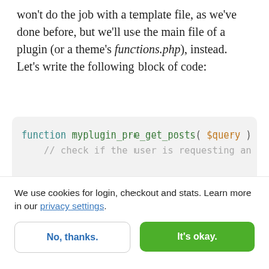won't do the job with a template file, as we've done before, but we'll use the main file of a plugin (or a theme's functions.php), instead. Let's write the following block of code:
[Figure (screenshot): Code block showing PHP function myplugin_pre_get_posts with comments about checking admin page and main query]
We use cookies for login, checkout and stats. Learn more in our privacy settings.